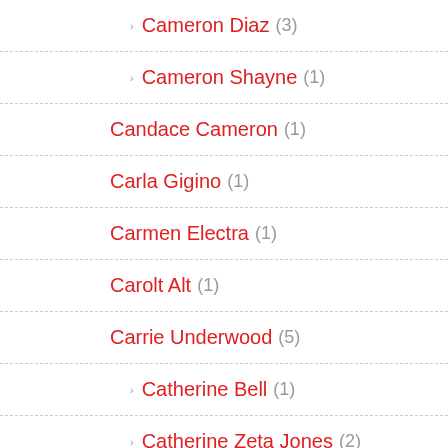Cameron Diaz (3)
Cameron Shayne (1)
Candace Cameron (1)
Carla Gigino (1)
Carmen Electra (1)
Carolt Alt (1)
Carrie Underwood (5)
Catherine Bell (1)
Catherine Zeta Jones (2)